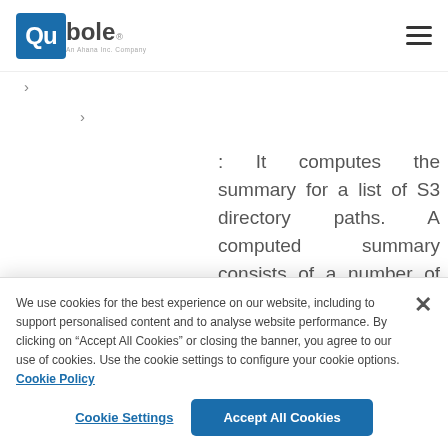Qubole - An Ahana Inc. Company
> (breadcrumb level 1)
> (breadcrumb level 2)
: It computes the summary for a list of S3 directory paths. A computed summary consists of a number of files, directories, and the total
We use cookies for the best experience on our website, including to support personalised content and to analyse website performance. By clicking on “Accept All Cookies” or closing the banner, you agree to our use of cookies. Use the cookie settings to configure your cookie options. Cookie Policy
Cookie Settings
Accept All Cookies